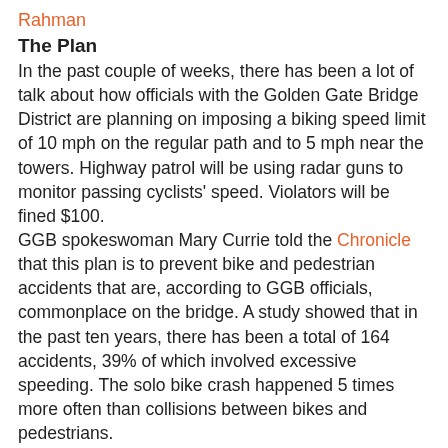Rahman
The Plan
In the past couple of weeks, there has been a lot of talk about how officials with the Golden Gate Bridge District are planning on imposing a biking speed limit of 10 mph on the regular path and to 5 mph near the towers. Highway patrol will be using radar guns to monitor passing cyclists' speed. Violators will be fined $100.
GGB spokeswoman Mary Currie told the Chronicle that this plan is to prevent bike and pedestrian accidents that are, according to GGB officials, commonplace on the bridge. A study showed that in the past ten years, there has been a total of 164 accidents, 39% of which involved excessive speeding. The solo bike crash happened 5 times more often than collisions between bikes and pedestrians.
The GGB's Board of Directors will vote on the approval of this new project on May 13th. If it's approved, the limit would most likely be in effect by the end of the summer.